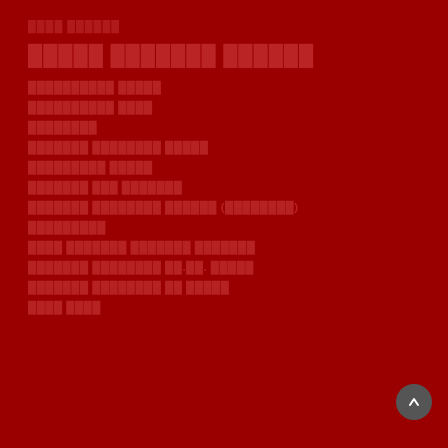████ ██████
█████ ███████ ██████
██████████ █████
██████████ ████
████████
███████ ████████ █████
█████████ █████
███████ ███ ███████
███████ ████████ ██████ (████████)
█████████
████ ███████ ███████ ███████
███████ ████████ ██.██. █████
███████ ████████ ██ █████
████ ████